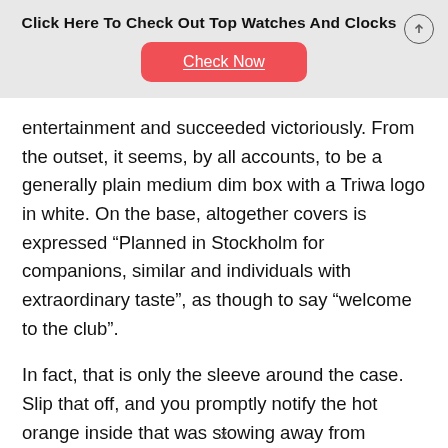Click Here To Check Out Top Watches And Clocks
[Figure (other): Red rounded button with 'Check Now' text in white, underlined]
entertainment and succeeded victoriously. From the outset, it seems, by all accounts, to be a generally plain medium dim box with a Triwa logo in white. On the base, altogether covers is expressed “Planned in Stockholm for companions, similar and individuals with extraordinary taste”, as though to say “welcome to the club”.
In fact, that is only the sleeve around the case. Slip that off, and you promptly notify the hot orange inside that was stowing away from seeing: a decent
x